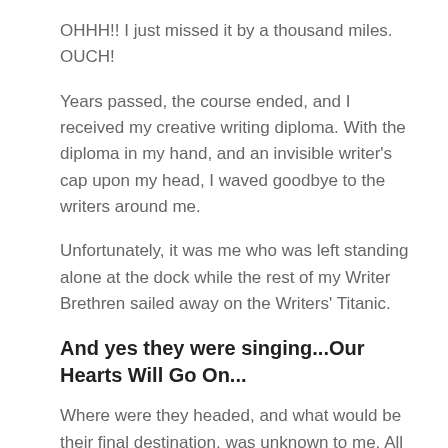OHHH!! I just missed it by a thousand miles. OUCH!
Years passed, the course ended, and I received my creative writing diploma. With the diploma in my hand, and an invisible writer's cap upon my head, I waved goodbye to the writers around me.
Unfortunately, it was me who was left standing alone at the dock while the rest of my Writer Brethren sailed away on the Writers' Titanic.
And yes they were singing...Our Hearts Will Go On...
Where were they headed, and what would be their final destination, was unknown to me. All I knew was that I stood alone once again, deserted by reason and logic, and tricked by blind desperation.